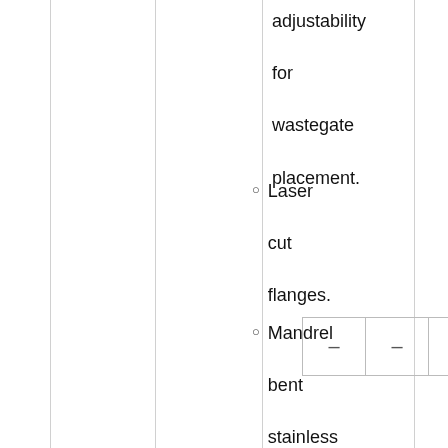adjustability for wastegate placement.
Laser cut flanges.
Mandrel bent stainless steel.
| – | – | – |
Strong construction provides years of reliable